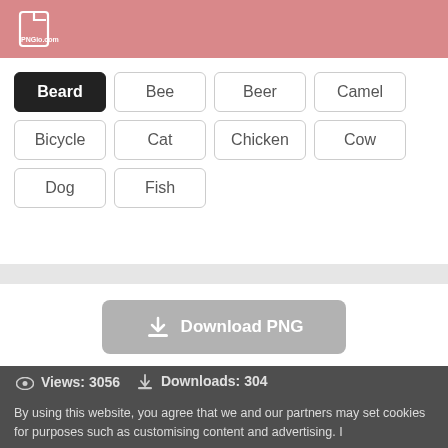PNGio.com
Beard
Bee
Beer
Camel
Bicycle
Cat
Chicken
Cow
Dog
Fish
Download PNG
Views: 3056   Downloads: 304
By using this website, you agree that we and our partners may set cookies for purposes such as customising content and advertising. I
Resolution: 688*820 Understand